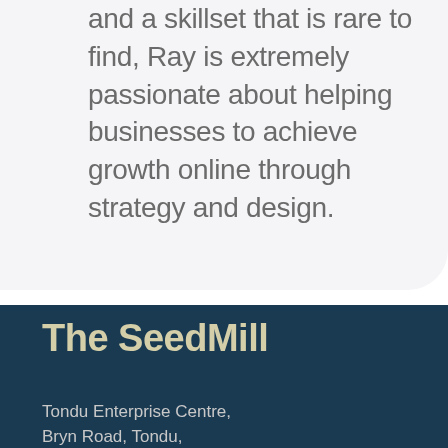and a skillset that is rare to find, Ray is extremely passionate about helping businesses to achieve growth online through strategy and design.
The SeedMill
Tondu Enterprise Centre,
Bryn Road, Tondu,